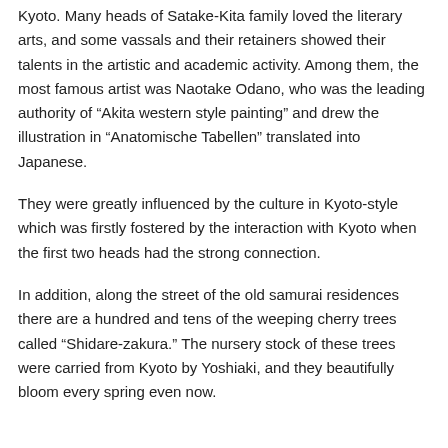Kyoto. Many heads of Satake-Kita family loved the literary arts, and some vassals and their retainers showed their talents in the artistic and academic activity. Among them, the most famous artist was Naotake Odano, who was the leading authority of “Akita western style painting” and drew the illustration in “Anatomische Tabellen” translated into Japanese.
They were greatly influenced by the culture in Kyoto-style which was firstly fostered by the interaction with Kyoto when the first two heads had the strong connection.
In addition, along the street of the old samurai residences there are a hundred and tens of the weeping cherry trees called “Shidare-zakura.” The nursery stock of these trees were carried from Kyoto by Yoshiaki, and they beautifully bloom every spring even now.